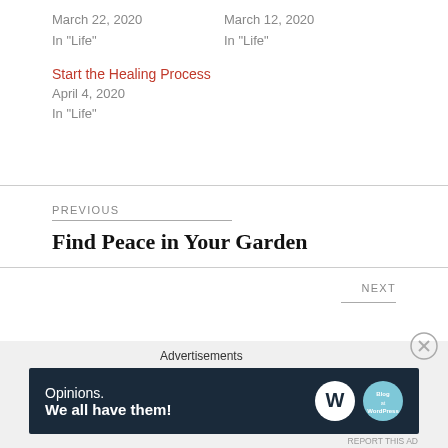March 22, 2020
In "Life"
March 12, 2020
In "Life"
Start the Healing Process
April 4, 2020
In "Life"
PREVIOUS
Find Peace in Your Garden
NEXT
Advertisements
[Figure (other): Advertisement banner: dark navy blue background with text 'Opinions. We all have them!' and WordPress logo and another circular logo on the right]